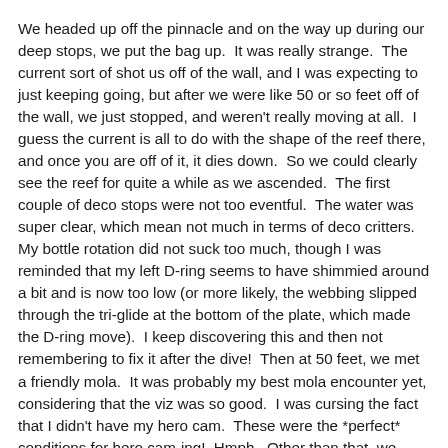We headed up off the pinnacle and on the way up during our deep stops, we put the bag up.  It was really strange.  The current sort of shot us off of the wall, and I was expecting to just keeping going, but after we were like 50 or so feet off of the wall, we just stopped, and weren't really moving at all.  I guess the current is all to do with the shape of the reef there, and once you are off of it, it dies down.  So we could clearly see the reef for quite a while as we ascended.  The first couple of deco stops were not too eventful.  The water was super clear, which mean not much in terms of deco critters.  My bottle rotation did not suck too much, though I was reminded that my left D-ring seems to have shimmied around a bit and is now too low (or more likely, the webbing slipped through the tri-glide at the bottom of the plate, which made the D-ring move).  I keep discovering this and then not remembering to fix it after the dive!  Then at 50 feet, we met a friendly mola.  It was probably my best mola encounter yet, considering that the viz was so good.  I was cursing the fact that I didn't have my hero cam.  These were the *perfect* conditions for hero cam-ing!  Hmph.  Other than that, we didn't see much on deco.  Though at 20 feet, we saw the